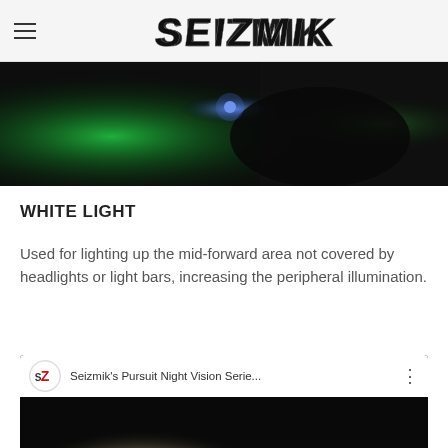SEIZMIK (logo navigation header)
[Figure (photo): Dark action photo with green and blue lighting showing an off-road vehicle or ATV scene at night]
WHITE LIGHT
Used for lighting up the mid-forward area not covered by headlights or light bars, increasing the peripheral illumination.
[Figure (screenshot): YouTube video embed thumbnail: Seizmik's Pursuit Night Vision Serie... showing a bright headlight flare on dark background with a red YouTube play button overlay and Seizmik logo in top left]